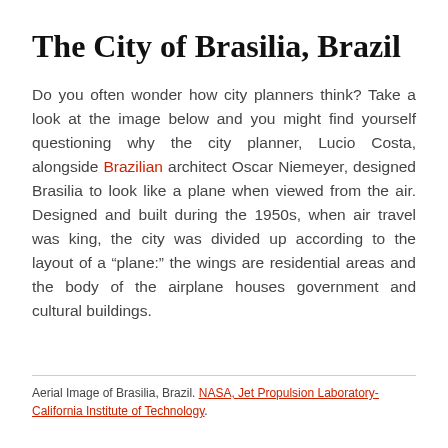The City of Brasilia, Brazil
Do you often wonder how city planners think? Take a look at the image below and you might find yourself questioning why the city planner, Lucio Costa, alongside Brazilian architect Oscar Niemeyer, designed Brasilia to look like a plane when viewed from the air. Designed and built during the 1950s, when air travel was king, the city was divided up according to the layout of a “plane:” the wings are residential areas and the body of the airplane houses government and cultural buildings.
Aerial Image of Brasilia, Brazil. NASA, Jet Propulsion Laboratory-California Institute of Technology.